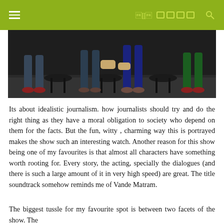Navigation bar with hamburger menu and social/search icons
[Figure (photo): Partial view of people sitting in an office setting, showing legs and feet, with office chairs visible]
Its about idealistic journalism. how journalists should try and do the right thing as they have a moral obligation to society who depend on them for the facts. But the fun, witty , charming way this is portrayed makes the show such an interesting watch. Another reason for this show being one of my favourites is that almost all characters have something worth rooting for. Every story, the acting, specially the dialogues (and there is such a large amount of it in very high speed) are great. The title soundtrack somehow reminds me of Vande Matram.
The biggest tussle for my favourite spot is between two facets of the show. The